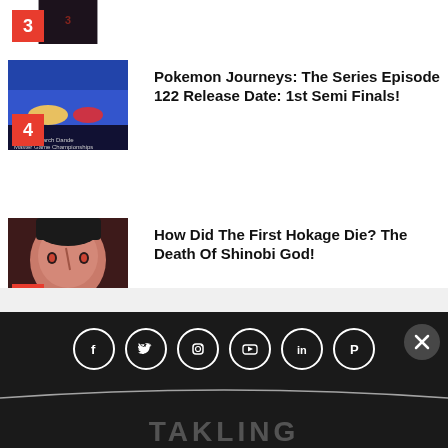[Figure (screenshot): Thumbnail image #3 - anime/manga style image partially visible at top]
[Figure (screenshot): Thumbnail image #4 - Pokemon Journeys scene with characters]
Pokemon Journeys: The Series Episode 122 Release Date: 1st Semi Finals!
[Figure (screenshot): Thumbnail image #5 - Naruto character (First Hokage) close-up face]
How Did The First Hokage Die? The Death Of Shinobi God!
Social media icons: Facebook, Twitter, Instagram, YouTube, LinkedIn, Pinterest